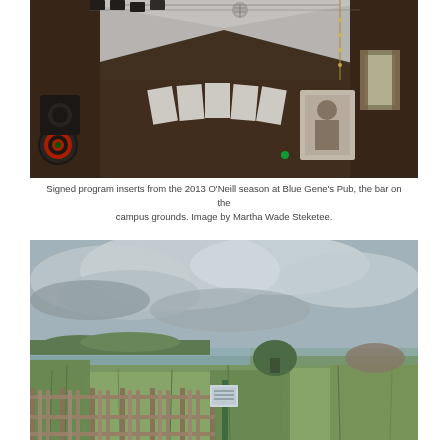[Figure (photo): Interior of Blue Gene's Pub showing wooden walls, a peaked ceiling with white fabric/tarp covering, string lights, a dartboard on the left wall, speakers, and signed program inserts displayed on the back wall.]
Signed program inserts from the 2013 O'Neill season at Blue Gene's Pub, the bar on the campus grounds. Image by Martha Wade Steketee.
[Figure (photo): Outdoor landscape showing a coastal wetland/marsh scene with a wooden picket fence in the foreground, tall grasses, a body of water and low hills in the background, under a cloudy grey sky.]